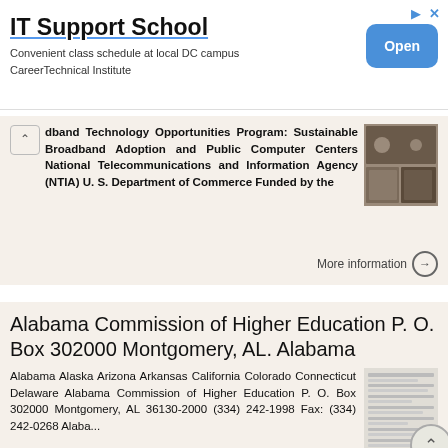[Figure (other): Advertisement banner for IT Support School with Open button]
dband Technology Opportunities Program: Sustainable Broadband Adoption and Public Computer Centers National Telecommunications and Information Agency (NTIA) U. S. Department of Commerce Funded by the
[Figure (photo): Thumbnail image related to broadband technology program]
More information →
Alabama Commission of Higher Education P. O. Box 302000 Montgomery, AL. Alabama
Alabama Alaska Arizona Arkansas California Colorado Connecticut Delaware Alabama Commission of Higher Education P. O. Box 302000 Montgomery, AL 36130-2000 (334) 242-1998 Fax: (334) 242-0268 Alaba...
[Figure (screenshot): Thumbnail of document listing with scroll-to-top button overlay]